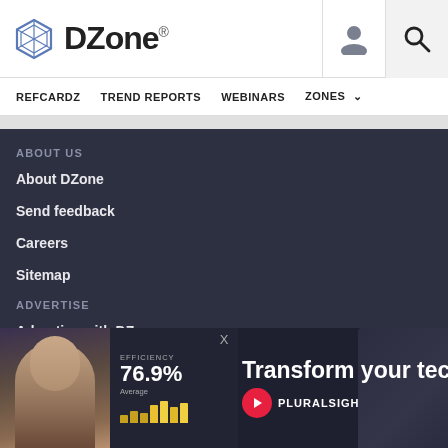DZone
REFCARDZ  TREND REPORTS  WEBINARS  ZONES
ABOUT US
About DZone
Send feedback
Careers
Sitemap
ADVERTISE
Advertise with DZone
CO
Ar
MVB Program
[Figure (screenshot): Pluralsight advertisement overlay showing a woman, efficiency stats at 76.9%, and the text 'Transform your techno' with Pluralsight logo and play button]